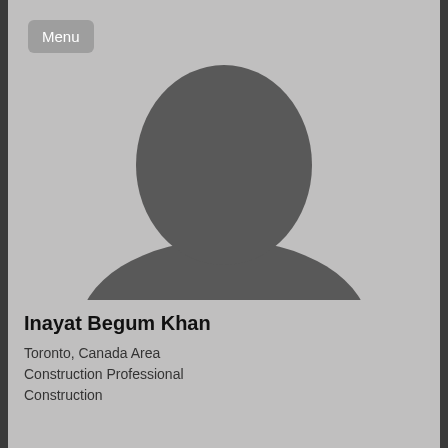[Figure (photo): Default profile silhouette placeholder image — grey background with dark grey anonymous person outline (head and shoulders)]
Menu
Inayat Begum Khan
Toronto, Canada Area
Construction Professional
Construction